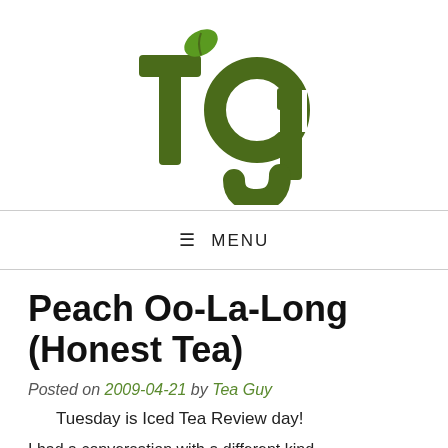[Figure (logo): Tea Guy blog logo: stylized lowercase 'tg' letters in dark olive green with a small green leaf on the 't']
≡ MENU
Peach Oo-La-Long (Honest Tea)
Posted on 2009-04-21 by Tea Guy
Tuesday is Iced Tea Review day!
I had a conversation with a different kind...